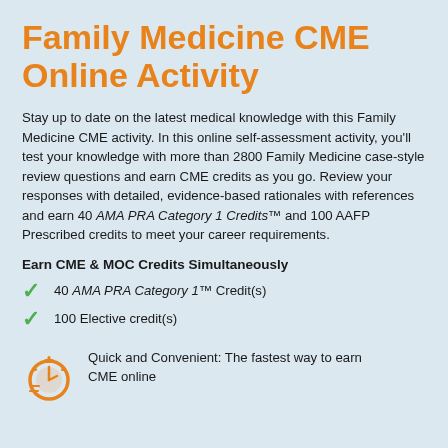Family Medicine CME Online Activity
Stay up to date on the latest medical knowledge with this Family Medicine CME activity. In this online self-assessment activity, you'll test your knowledge with more than 2800 Family Medicine case-style review questions and earn CME credits as you go. Review your responses with detailed, evidence-based rationales with references and earn 40 AMA PRA Category 1 Credits™ and 100 AAFP Prescribed credits to meet your career requirements.
Earn CME & MOC Credits Simultaneously
40 AMA PRA Category 1™ Credit(s)
100 Elective credit(s)
Quick and Convenient: The fastest way to earn CME online